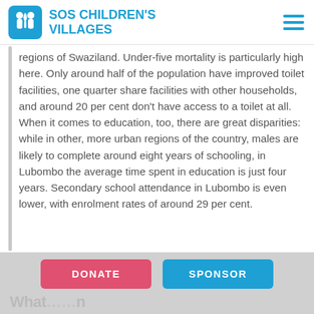SOS CHILDREN'S VILLAGES
regions of Swaziland. Under-five mortality is particularly high here. Only around half of the population have improved toilet facilities, one quarter share facilities with other households, and around 20 per cent don't have access to a toilet at all. When it comes to education, too, there are great disparities: while in other, more urban regions of the country, males are likely to complete around eight years of schooling, in Lubombo the average time spent in education is just four years. Secondary school attendance in Lubombo is even lower, with enrolment rates of around 29 per cent.
DONATE   SPONSOR